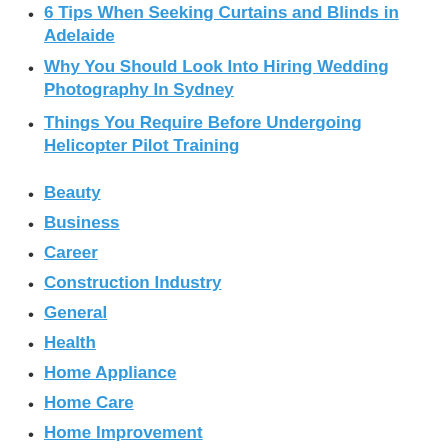6 Tips When Seeking Curtains and Blinds in Adelaide
Why You Should Look Into Hiring Wedding Photography In Sydney
Things You Require Before Undergoing Helicopter Pilot Training
Beauty
Business
Career
Construction Industry
General
Health
Home Appliance
Home Care
Home Improvement
IT